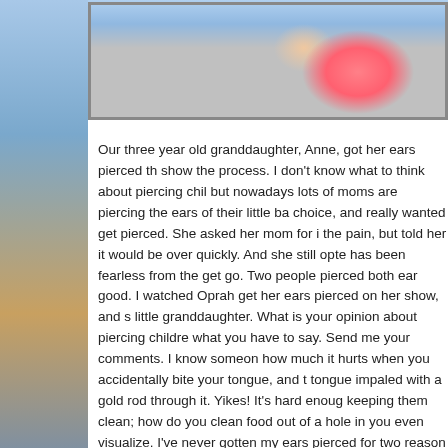[Figure (photo): Photo of a young child (approximately three years old) in a pink top, shown from the shoulders up, partial view cropped at page edge.]
Our three year old granddaughter, Anne, got her ears pierced th... show the process. I don't know what to think about piercing chil... but nowadays lots of moms are piercing the ears of their little ba... choice, and really wanted get pierced. She asked her mom for i... the pain, but told her it would be over quickly. And she still opte... has been fearless from the get go. Two people pierced both ear... good. I watched Oprah get her ears pierced on her show, and s... little granddaughter. What is your opinion about piercing childre... what you have to say. Send me your comments. I know someon... how much it hurts when you accidentally bite your tongue, and t... tongue impaled with a gold rod through it. Yikes! It's hard enoug... keeping them clean; how do you clean food out of a hole in you... even visualize. I've never gotten my ears pierced for two reason... and my hair has always completely covered my ears. Here's a b... In the book of Exodus, Aaron told the Israelite wives, sons, and... earrings, and he made them into an idol to worship. That's how... was not happy with that. He was going to kill them all, but Mose... people wore some serious jewelry. The men and women both w...